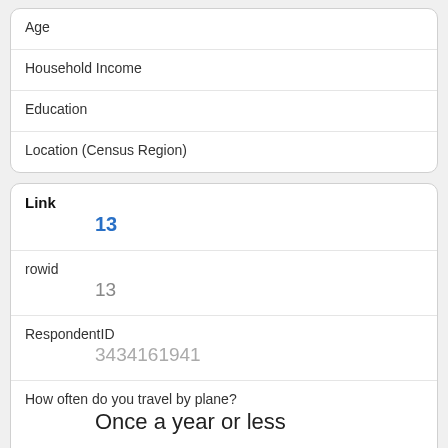| Age |
| Household Income |
| Education |
| Location (Census Region) |
| Link | 13 |
| rowid | 13 |
| RespondentID | 3434161941 |
| How often do you travel by plane? | Once a year or less |
| Do you ever recline your seat when you fly? | Never |
| How tall are you? |  |